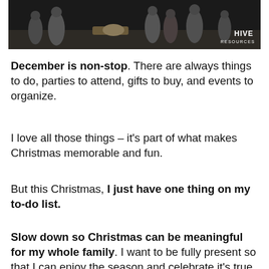[Figure (photo): A nativity scene photograph showing robed figures around a manger, with a 'HIVE RESOURCES' logo watermark in the bottom right corner.]
December is non-stop. There are always things to do, parties to attend, gifts to buy, and events to organize.
I love all those things – it's part of what makes Christmas memorable and fun.
But this Christmas, I just have one thing on my to-do list.
Slow down so Christmas can be meaningful for my whole family. I want to be fully present so that I can enjoy the season and celebrate it's true meaning.